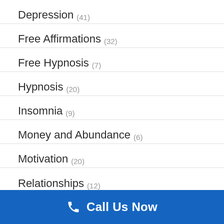Depression (41)
Free Affirmations (32)
Free Hypnosis (7)
Hypnosis (20)
Insomnia (9)
Money and Abundance (6)
Motivation (20)
Relationships (12)
Call Us Now